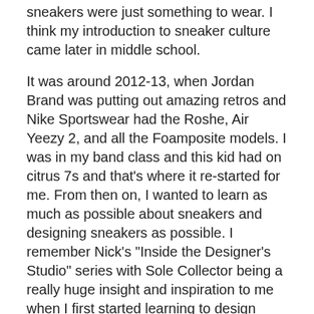sneakers were just something to wear. I think my introduction to sneaker culture came later in middle school.
It was around 2012-13, when Jordan Brand was putting out amazing retros and Nike Sportswear had the Roshe, Air Yeezy 2, and all the Foamposite models. I was in my band class and this kid had on citrus 7s and that’s where it re-started for me. From then on, I wanted to learn as much as possible about sneakers and designing sneakers as possible. I remember Nick’s “Inside the Designer’s Studio” series with Sole Collector being a really huge insight and inspiration to me when I first started learning to design shoes.
What are you most